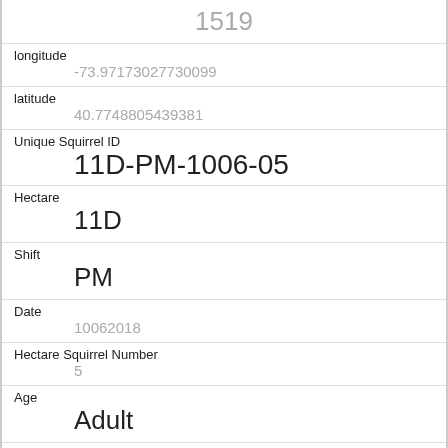1519
longitude
-73.97173027730099
latitude
40.7748805439381
Unique Squirrel ID
11D-PM-1006-05
Hectare
11D
Shift
PM
Date
10062018
Hectare Squirrel Number
5
Age
Adult
Primary Fur Color
Gray
Highlight Fur Color